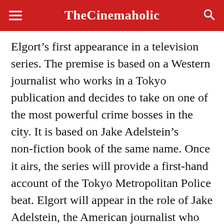TheCinemaholic
Elgort’s first appearance in a television series. The premise is based on a Western journalist who works in a Tokyo publication and decides to take on one of the most powerful crime bosses in the city. It is based on Jake Adelstein’s non-fiction book of the same name. Once it airs, the series will provide a first-hand account of the Tokyo Metropolitan Police beat. Elgort will appear in the role of Jake Adelstein, the American journalist who inserts himself into the Tokyo Vice police squad with the intention of exposing the corruption that lies at its heart.